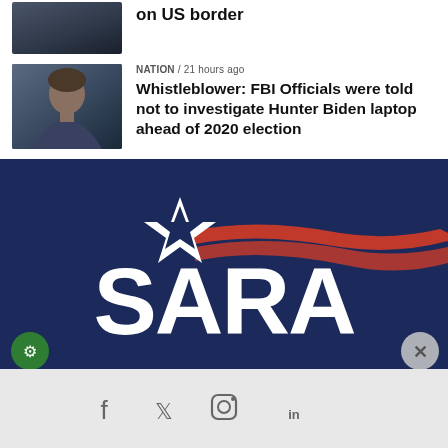[Figure (screenshot): News thumbnail image - partial top article]
on US border
NATION / 21 hours ago
[Figure (photo): Photo of Hunter Biden]
Whistleblower: FBI Officials were told not to investigate Hunter Biden laptop ahead of 2020 election
[Figure (logo): SARA logo on dark navy blue background with star and red swoosh ribbons]
[Figure (infographic): Social media icons: Facebook, Twitter, Instagram, LinkedIn on light gray background]